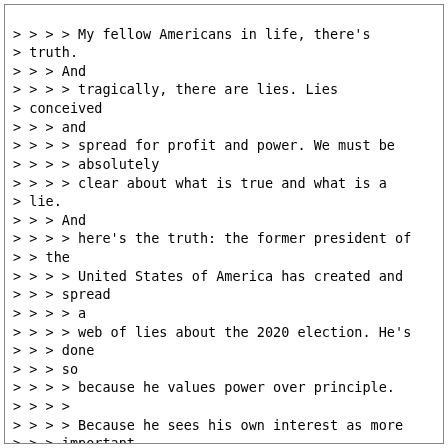> > > > My fellow Americans in life, there's
> truth.
> > > And
> > > > tragically, there are lies. Lies
> conceived
> > > and
> > > > spread for profit and power. We must be
> > > > absolutely
> > > > clear about what is true and what is a
> lie.
> > > And
> > > > here's the truth: the former president of
> > the
> > > > United States of America has created and
> > > spread
> > > > a
> > > > web of lies about the 2020 election. He's
> > > done
> > > so
> > > > because he values power over principle.
> > > >
> > > > Because he sees his own interest as more
> > > important
> > > > than his country's interest and America's
> > > > interest. And because his bruised ego
> > matters
> > > > more
> > > > to him than our democracy or our
> > > constitution.
> > > > He
> > > > can't accept he lost. Even though that's
> > what